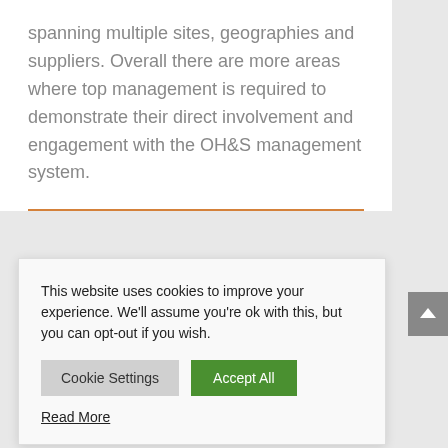spanning multiple sites, geographies and suppliers. Overall there are more areas where top management is required to demonstrate their direct involvement and engagement with the OH&S management system.
This website uses cookies to improve your experience. We'll assume you're ok with this, but you can opt-out if you wish.
Cookie Settings  Accept All  Read More